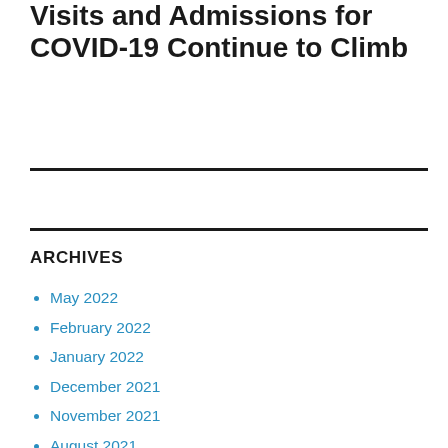Visits and Admissions for COVID-19 Continue to Climb
ARCHIVES
May 2022
February 2022
January 2022
December 2021
November 2021
August 2021
July 2021
May 2021